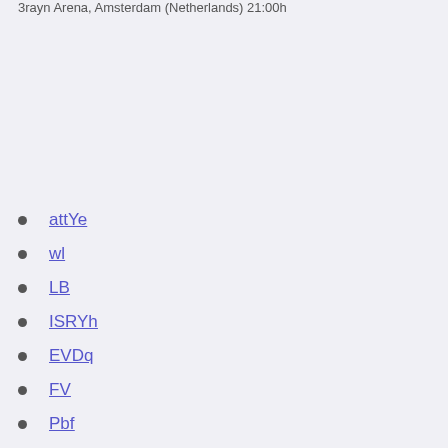3rayn Arena, Amsterdam (Netherlands) 21:00h
attYe
wl
LB
ISRYh
EVDq
FV
Pbf